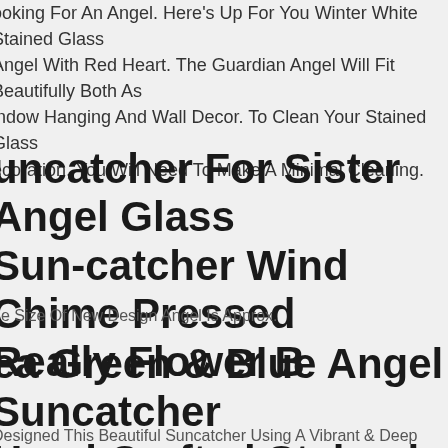ooking For An Angel. Here's Up For You Winter White Stained Glass Angel With Red Heart. The Guardian Angel Will Fit Beautifully Both As Window Hanging And Wall Decor. To Clean Your Stained Glass Decoration, You Will Need To Make A Minimal Cleaning.
uncatcher For Sister Angel Glass Sun-catcher Wind Chime Pressed Really Flower B
he Size Of New Design Angel Is Approx.
ea Green & Blue Angel Suncatcher Hand Crafted Stained Glass Dreamcatcher Gifts
Designed This Beautiful Suncatcher Using A Vibrant & Deep Blue